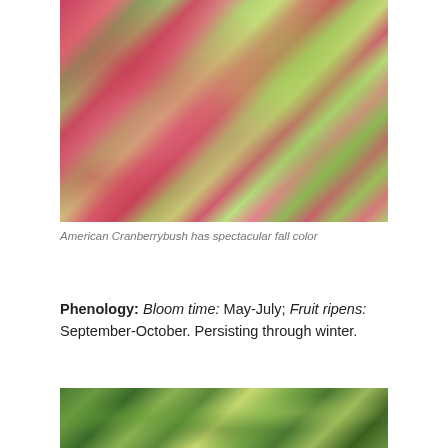[Figure (photo): Close-up photograph of American Cranberrybush foliage showing spectacular fall color with pink, red, and yellow-green leaves mixed together]
American Cranberrybush has spectacular fall color
Phenology: Bloom time: May-July; Fruit ripens: September-October. Persisting through winter.
[Figure (photo): Photograph of shrub foliage with green leaves in a garden setting]